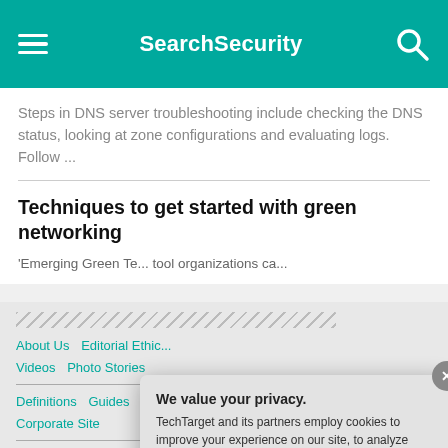SearchSecurity
Steps in DNS server troubleshooting include checking the DNS status, looking at zone configurations and evaluating logs. Follow ...
Techniques to get started with green networking
'Emerging Green Te... tool organizations ca...
About Us  Editorial Ethic...  Videos  Photo Stories
Definitions  Guides  Ac...  Corporate Site
Contributors  CPE and C...
We value your privacy.
TechTarget and its partners employ cookies to improve your experience on our site, to analyze traffic and performance, and to serve personalized content and advertising that are relevant to your professional interests. You can manage your settings at any time. Please view our Privacy Policy for more information